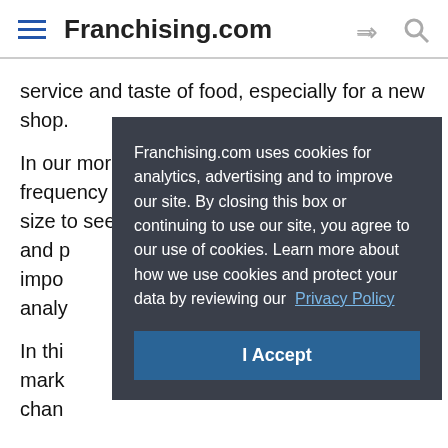Franchising.com
service and taste of food, especially for a new shop.
In our more developed markets, we track frequency (visits per month) and transaction size to see if our promotions and p impo analy
In thi mark chan abou grow camp the in online
Franchising.com uses cookies for analytics, advertising and to improve our site. By closing this box or continuing to use our site, you agree to our use of cookies. Learn more about how we use cookies and protect your data by reviewing our Privacy Policy
I Accept